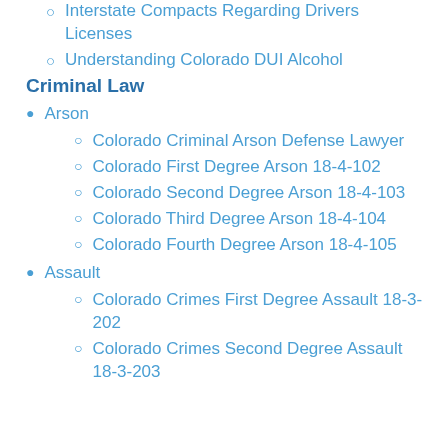Interstate Compacts Regarding Drivers Licenses
Understanding Colorado DUI Alcohol
Criminal Law
Arson
Colorado Criminal Arson Defense Lawyer
Colorado First Degree Arson 18-4-102
Colorado Second Degree Arson 18-4-103
Colorado Third Degree Arson 18-4-104
Colorado Fourth Degree Arson 18-4-105
Assault
Colorado Crimes First Degree Assault 18-3-202
Colorado Crimes Second Degree Assault 18-3-203